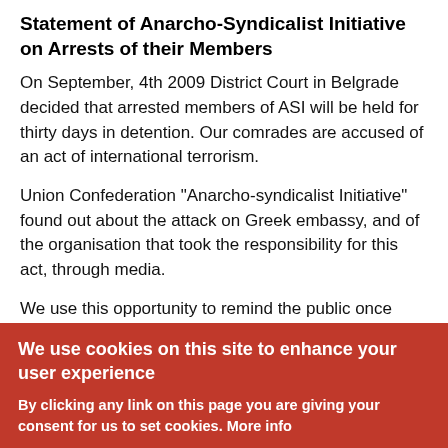Statement of Anarcho-Syndicalist Initiative on Arrests of their Members
On September, 4th 2009 District Court in Belgrade decided that arrested members of ASI will be held for thirty days in detention. Our comrades are accused of an act of international terrorism.
Union Confederation "Anarcho-syndicalist Initiative" found out about the attack on Greek embassy, and of the organisation that took the responsibility for this act, through media.
We use this opportunity to remind the public once again that these methods of individual
We use cookies on this site to enhance your user experience
By clicking any link on this page you are giving your consent for us to set cookies. More info